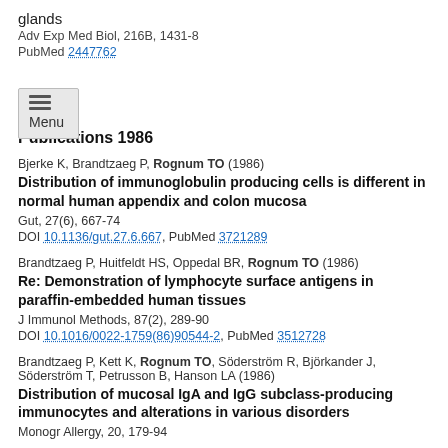glands
Adv Exp Med Biol, 216B, 1431-8
PubMed 2447762
Publications 1986
Bjerke K, Brandtzaeg P, Rognum TO (1986)
Distribution of immunoglobulin producing cells is different in normal human appendix and colon mucosa
Gut, 27(6), 667-74
DOI 10.1136/gut.27.6.667, PubMed 3721289
Brandtzaeg P, Huitfeldt HS, Oppedal BR, Rognum TO (1986)
Re: Demonstration of lymphocyte surface antigens in paraffin-embedded human tissues
J Immunol Methods, 87(2), 289-90
DOI 10.1016/0022-1759(86)90544-2, PubMed 3512728
Brandtzaeg P, Kett K, Rognum TO, Söderström R, Björkander J, Söderström T, Petrusson B, Hanson LA (1986)
Distribution of mucosal IgA and IgG subclass-producing immunocytes and alterations in various disorders
Monogr Allergy, 20, 179-94